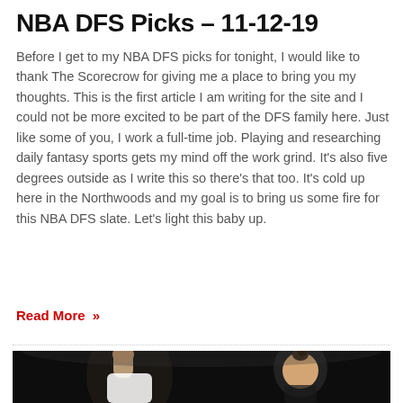NBA DFS Picks – 11-12-19
Before I get to my NBA DFS picks for tonight, I would like to thank The Scorecrow for giving me a place to bring you my thoughts. This is the first article I am writing for the site and I could not be more excited to be part of the DFS family here. Just like some of you, I work a full-time job. Playing and researching daily fantasy sports gets my mind off the work grind. It's also five degrees outside as I write this so there's that too. It's cold up here in the Northwoods and my goal is to bring us some fire for this NBA DFS slate. Let's light this baby up.
Read More »
[Figure (photo): A basketball player with hair in a bun, raising a fist, photographed during a game against a dark background.]